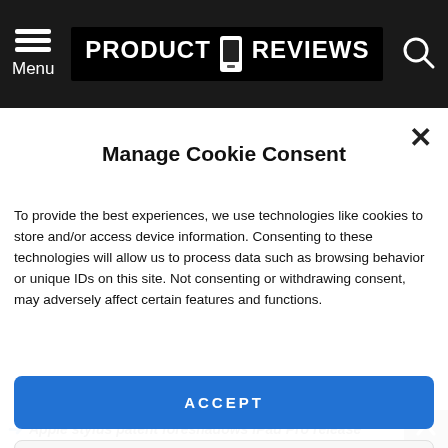Menu | PRODUCT REVIEWS
Manage Cookie Consent
To provide the best experiences, we use technologies like cookies to store and/or access device information. Consenting to these technologies will allow us to process data such as browsing behavior or unique IDs on this site. Not consenting or withdrawing consent, may adversely affect certain features and functions.
ACCEPT
VIEW PREFERENCES
Cookie Policy  Privacy Policy
Apple stylus patent foreshadows iPad Pro release